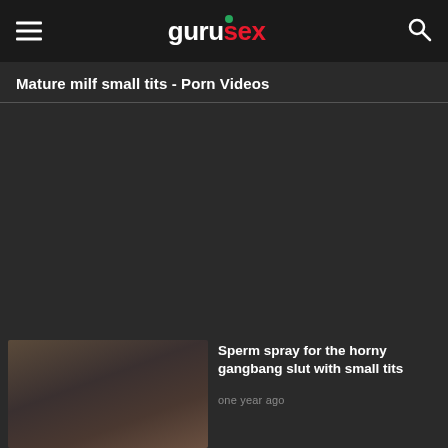gurusex
Mature milf small tits - Porn Videos
Sperm spray for the horny gangbang slut with small tits
one year ago